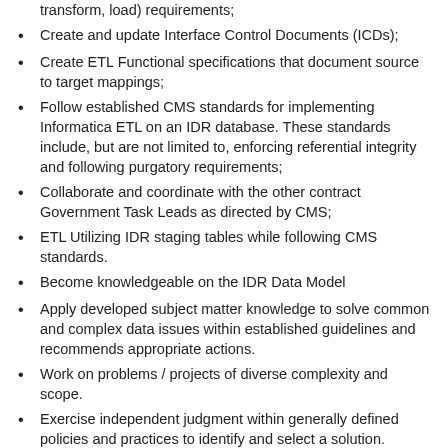transform, load) requirements;
Create and update Interface Control Documents (ICDs);
Create ETL Functional specifications that document source to target mappings;
Follow established CMS standards for implementing Informatica ETL on an IDR database. These standards include, but are not limited to, enforcing referential integrity and following purgatory requirements;
Collaborate and coordinate with the other contract Government Task Leads as directed by CMS;
ETL Utilizing IDR staging tables while following CMS standards.
Become knowledgeable on the IDR Data Model
Apply developed subject matter knowledge to solve common and complex data issues within established guidelines and recommends appropriate actions.
Work on problems / projects of diverse complexity and scope.
Exercise independent judgment within generally defined policies and practices to identify and select a solution.
Utilize strong proven analytical ability and ability to solve problems independently